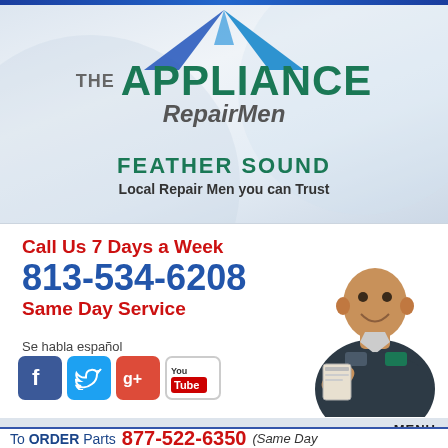[Figure (logo): The Appliance RepairMen logo with house/roof graphic in blue]
THE APPLIANCE RepairMen
FEATHER SOUND
Local Repair Men you can Trust
Call Us 7 Days a Week
813-534-6208
Same Day Service
Se habla español
[Figure (illustration): Social media icons: Facebook, Twitter, Google+, YouTube]
[Figure (photo): Smiling male technician in dark uniform holding clipboard]
MENU
To ORDER Parts  877-522-6350  (Same Day